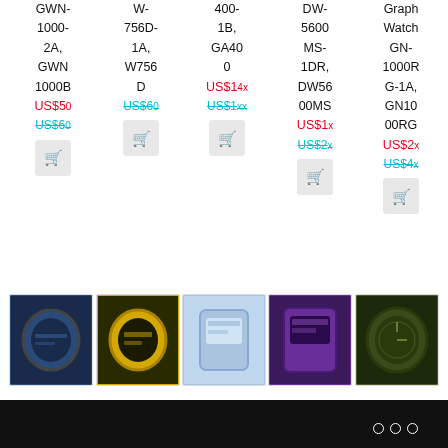GWN-1000-2A, GWN 1000B US$5x US$6x
W-756D-1A, W756D US$60 US$xx
400-1B, GA400 0 US$14x US$1xx
DW-5600 MS-1DR, DW5600MS US$1x US$2x
Graph Watch GN-1000R G-1A, GN1000RG US$2x US$4x
[Figure (photo): Blue/black G-Shock watch]
[Figure (photo): Yellow/black G-Shock watch]
[Figure (photo): Light blue digital watch]
[Figure (photo): Purple digital watch]
[Figure (photo): Dark green/black watch]